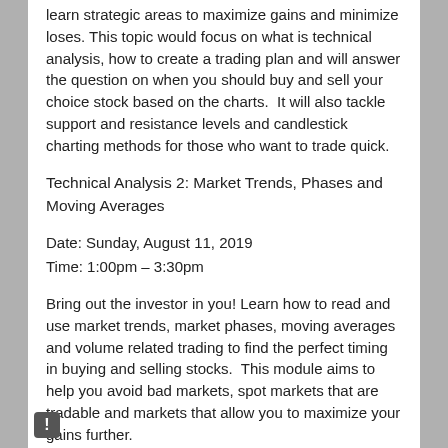learn strategic areas to maximize gains and minimize loses. This topic would focus on what is technical analysis, how to create a trading plan and will answer the question on when you should buy and sell your choice stock based on the charts.  It will also tackle support and resistance levels and candlestick charting methods for those who want to trade quick.
Technical Analysis 2: Market Trends, Phases and Moving Averages
Date: Sunday, August 11, 2019
Time: 1:00pm – 3:30pm
Bring out the investor in you! Learn how to read and use market trends, market phases, moving averages and volume related trading to find the perfect timing in buying and selling stocks.  This module aims to help you avoid bad markets, spot markets that are tradable and markets that allow you to maximize your gains further.